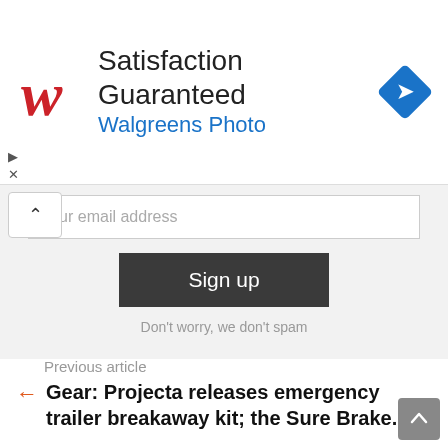[Figure (logo): Walgreens Photo advertisement banner with Walgreens 'W' logo in red cursive, text 'Satisfaction Guaranteed' and 'Walgreens Photo' in blue, and a blue diamond-shaped navigation icon on the right]
Your email address
Sign up
Don't worry, we don't spam
Previous article
Gear: Projecta releases emergency trailer breakaway kit; the Sure Brake.
Next article
Throwback Thursday: Why you need a WWII Jeep!